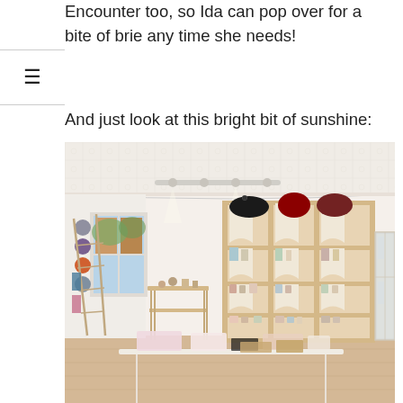Encounter too, so Ida can pop over for a bite of brie any time she needs!
And just look at this bright bit of sunshine:
[Figure (photo): Interior of a bright, cheerful small shop or studio. The room has white walls and a decorative pressed tin ceiling. On the right side there is a large wooden arch-style shelving unit filled with yarn bundles, small jars, and various craft products. A glass display cabinet stands at the far right. On the left there is a lean ladder holding items, and a small rolling cart near a window. In the center-front is a white table with items laid out on it. A window on the left side shows brick buildings outside.]